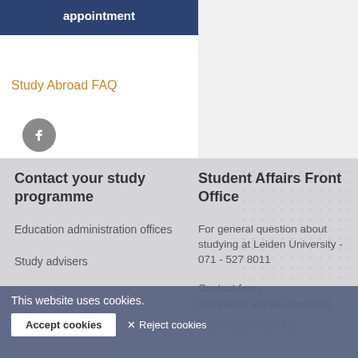appointment
Study Abroad FAQ
[Figure (illustration): Facebook icon - grey circular button with white f logo]
Contact your study programme
Education administration offices
Study advisers
Student Affairs Front Office
For general question about studying at Leiden University - 071 - 527 8011
Contact form
Frequently asked questions
Connect with us
Student newsletter
This website uses cookies.
Accept cookies
✕ Reject cookies